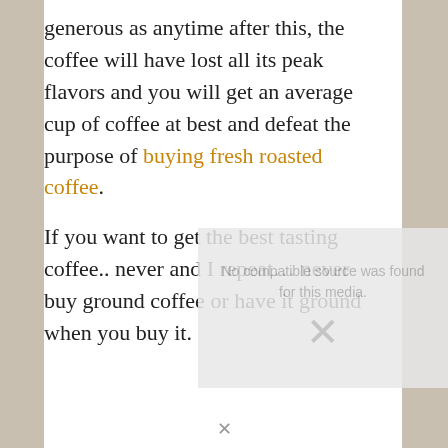generous as anytime after this, the coffee will have lost all its peak flavors and you will get an average cup of coffee at best and defeat the purpose of buying fresh roasted coffee.
If you want to get the best tasting coffee.. never and I repeat… never buy ground coffee or have it ground when you buy it.
[Figure (other): Video player overlay showing 'No compatible source was found for this media.' with an X icon]